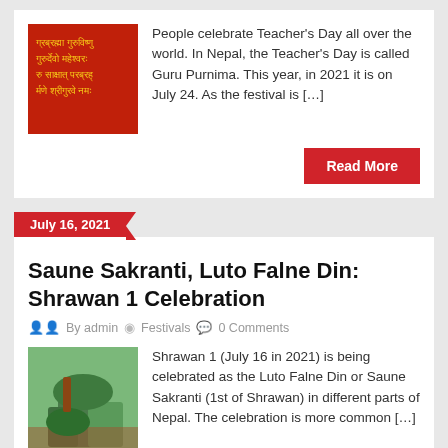[Figure (photo): Red background image with Sanskrit/Devanagari text in yellow, appears to be a guru mantra]
People celebrate Teacherâs Day all over the world. In Nepal, the Teacher’s Day is called Guru Purnima. This year, in 2021 it is on July 24. As the festival is […]
Read More
July 16, 2021
Saune Sakranti, Luto Falne Din: Shrawan 1 Celebration
By admin   Festivals   0 Comments
[Figure (photo): Photo of hands doing a traditional Nepalese festival ritual with green plants/herbs]
Shrawan 1 (July 16 in 2021) is being celebrated as the Luto Falne Din or Saune Sakranti (1st of Shrawan) in different parts of Nepal. The celebration is more common […]